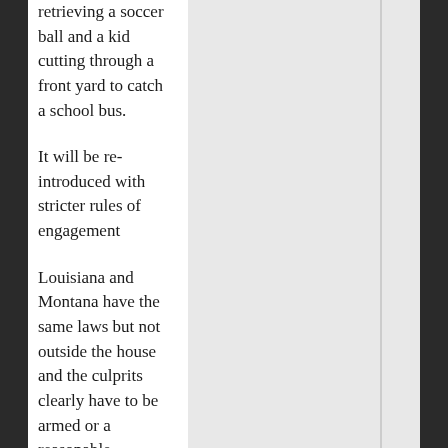retrieving a soccer ball and a kid cutting through a front yard to catch a school bus.
It will be re-introduced with stricter rules of engagement
Louisiana and Montana have the same laws but not outside the house and the culprits clearly have to be armed or a reasonable standard that